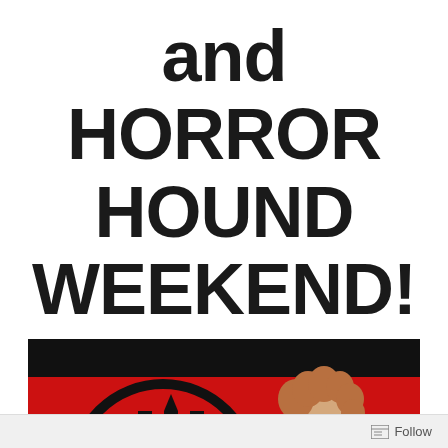and HORROR HOUND WEEKEND!
[Figure (photo): A person with curly hair in a red outfit reacting in surprise/horror, posed next to a large circular black logo on a red background. Text at the bottom reads 'THE GREATEST'. The image is a movie or event promotional photo.]
Follow